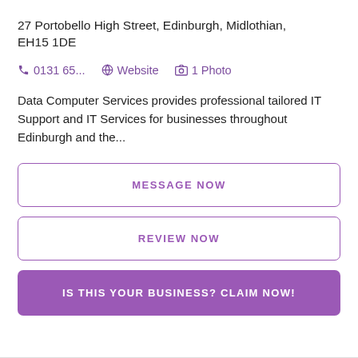27 Portobello High Street, Edinburgh, Midlothian, EH15 1DE
📞 0131 65...   🌐 Website   🖼 1 Photo
Data Computer Services provides professional tailored IT Support and IT Services for businesses throughout Edinburgh and the...
MESSAGE NOW
REVIEW NOW
IS THIS YOUR BUSINESS? CLAIM NOW!